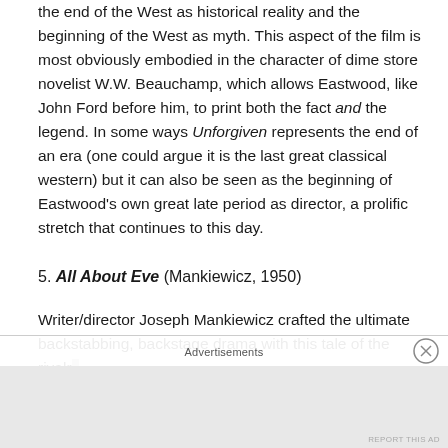the end of the West as historical reality and the beginning of the West as myth. This aspect of the film is most obviously embodied in the character of dime store novelist W.W. Beauchamp, which allows Eastwood, like John Ford before him, to print both the fact and the legend. In some ways Unforgiven represents the end of an era (one could argue it is the last great classical western) but it can also be seen as the beginning of Eastwood's own great late period as director, a prolific stretch that continues to this day.
5. All About Eve (Mankiewicz, 1950)
Writer/director Joseph Mankiewicz crafted the ultimate backstabbing, backstage drama with this tale of the rivalry…
Advertisements